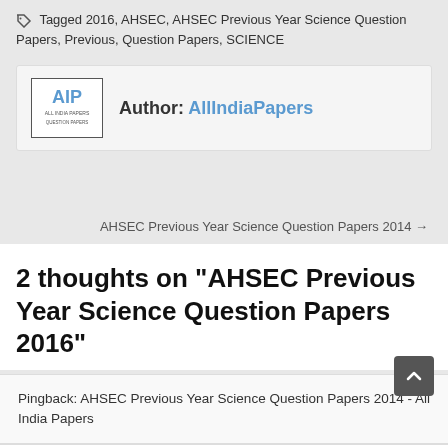Tagged 2016, AHSEC, AHSEC Previous Year Science Question Papers, Previous, Question Papers, SCIENCE
Author: AllIndiaPapers
AHSEC Previous Year Science Question Papers 2014 →
2 thoughts on “AHSEC Previous Year Science Question Papers 2016”
Pingback: AHSEC Previous Year Science Question Papers 2014 - All India Papers
Pingback: SEBA HSLC Exam Routine 2021 Download - All India